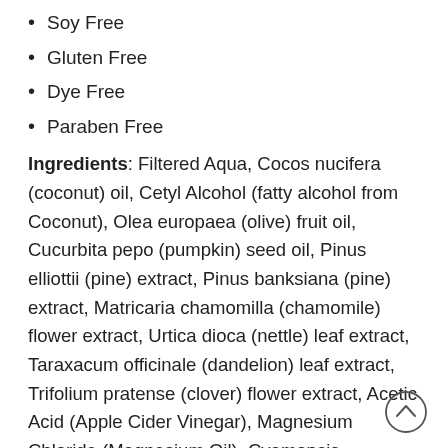Soy Free
Gluten Free
Dye Free
Paraben Free
Ingredients: Filtered Aqua, Cocos nucifera (coconut) oil, Cetyl Alcohol (fatty alcohol from Coconut), Olea europaea (olive) fruit oil, Cucurbita pepo (pumpkin) seed oil, Pinus elliottii (pine) extract, Pinus banksiana (pine) extract, Matricaria chamomilla (chamomile) flower extract, Urtica dioca (nettle) leaf extract, Taraxacum officinale (dandelion) leaf extract, Trifolium pratense (clover) flower extract, Acetic Acid (Apple Cider Vinegar), Magnesium Chloride (Magnesium Oil), Cyamopsis tetragonoloba (guar/cluster bean) gum, Mentha piperita (peppermint) leaf oil.